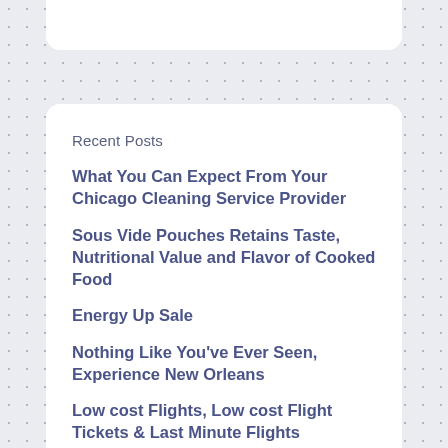Recent Posts
What You Can Expect From Your Chicago Cleaning Service Provider
Sous Vide Pouches Retains Taste, Nutritional Value and Flavor of Cooked Food
Energy Up Sale
Nothing Like You've Ever Seen, Experience New Orleans
Low cost Flights, Low cost Flight Tickets & Last Minute Flights
Recent Comments
No comments to show.